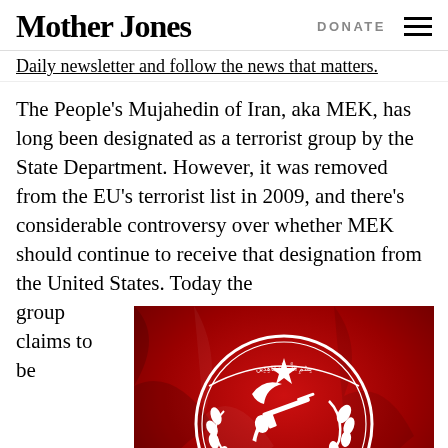Mother Jones | DONATE
Daily newsletter and follow the news that matters.
The People's Mujahedin of Iran, aka MEK, has long been designated as a terrorist group by the State Department. However, it was removed from the EU's terrorist list in 2009, and there's considerable controversy over whether MEK should continue to receive that designation from the United States. Today the group claims to be
[Figure (photo): MEK emblem on a red flag background — white circular logo with Arabic calligraphy, star, crescent, rifle, and wheat/olive branch motifs on a deep red draped fabric.]